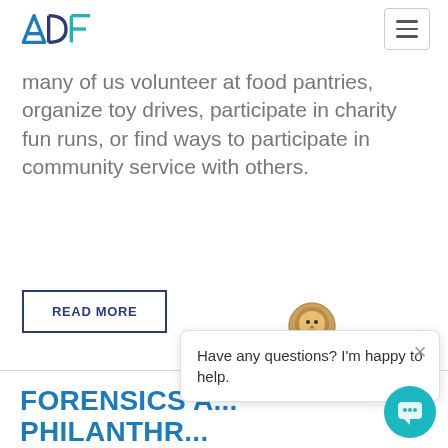ADF
many of us volunteer at food pantries, organize toy drives, participate in charity fun runs, or find ways to participate in community service with others.
READ MORE
FORENSICS AND PHILANTHROPY ON #GIVINGTUESDAY
NOVEMBER 30, 2020
When I began my career in Law Enforce
[Figure (screenshot): Chat widget popup with lion mascot avatar saying 'Have any questions? I'm happy to help.' with a teal chat button at bottom right]